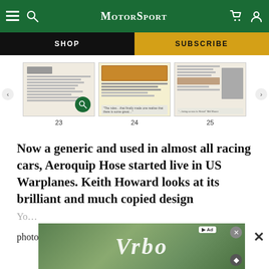MotorSport
[Figure (screenshot): Website navigation bar with hamburger menu, search icon, MotorSport logo, cart and user icons on green background]
[Figure (screenshot): Shop and Subscribe navigation buttons, black and gold respectively]
[Figure (screenshot): Magazine page thumbnails for pages 23, 24, and 25]
Now a generic and used in almost all racing cars, Aeroquip Hose started live in US Warplanes. Keith Howard looks at its brilliant and much copied design
photography by Charles Best
[Figure (photo): Vrbo advertisement banner with logo text on green/outdoor background]